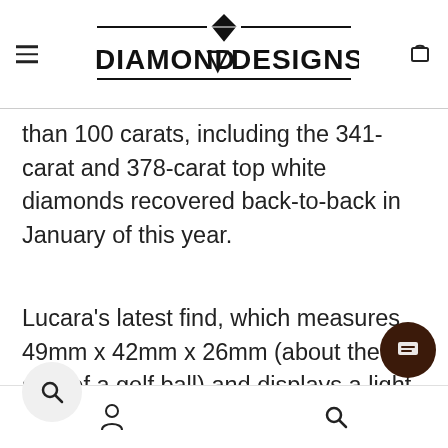DIAMOND DESIGNS
than 100 carats, including the 341-carat and 378-carat top white diamonds recovered back-to-back in January of this year.
Lucara's latest find, which measures 49mm x 42mm x 26mm (about the size of a golf ball) and displays a light-brown tint, was recovered in the the company's Coarse XRT